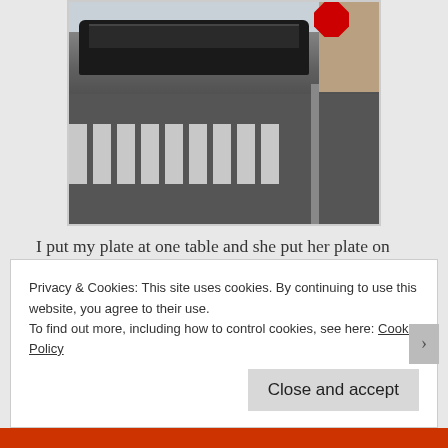[Figure (photo): Street intersection photo showing a long black stretch limousine, a crosswalk with white stripes, a metal sign pole with a stop sign at top, and a building in the background. Urban street scene.]
I put my plate at one table and she put her plate on the table right next to it, instead of across from my plate so we ate together diagonally, so not really what I had in mind. She asked if anyone had
Privacy & Cookies: This site uses cookies. By continuing to use this website, you agree to their use.
To find out more, including how to control cookies, see here: Cookie Policy
Close and accept